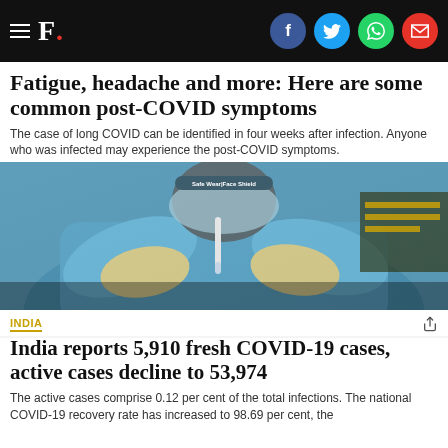F. [Firstpost logo with social share icons: Facebook, Twitter, WhatsApp, Email]
Fatigue, headache and more: Here are some common post-COVID symptoms
The case of long COVID can be identified in four weeks after infection. Anyone who was infected may experience the post-COVID symptoms.
[Figure (photo): Healthcare worker in full PPE (blue protective suit, face shield reading 'Safe Wear Face Shield', and gloves) handling a medical swab/test tube]
INDIA
India reports 5,910 fresh COVID-19 cases, active cases decline to 53,974
The active cases comprise 0.12 per cent of the total infections. The national COVID-19 recovery rate has increased to 98.69 per cent, the